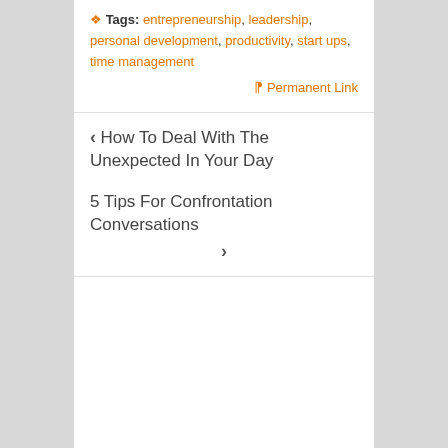Tags: entrepreneurship, leadership, personal development, productivity, start ups, time management
Permanent Link
< How To Deal With The Unexpected In Your Day
5 Tips For Confrontation Conversations >